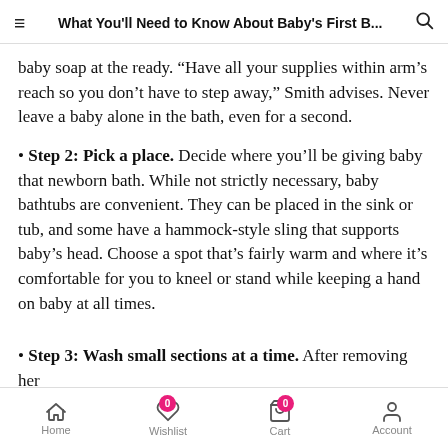What You'll Need to Know About Baby's First B...
baby soap at the ready. “Have all your supplies within arm’s reach so you don’t have to step away,” Smith advises. Never leave a baby alone in the bath, even for a second.
Step 2: Pick a place. Decide where you’ll be giving baby that newborn bath. While not strictly necessary, baby bathtubs are convenient. They can be placed in the sink or tub, and some have a hammock-style sling that supports baby’s head. Choose a spot that’s fairly warm and where it’s comfortable for you to kneel or stand while keeping a hand on baby at all times.
Step 3: Wash small sections at a time. After removing her
Home  Wishlist  Cart  Account